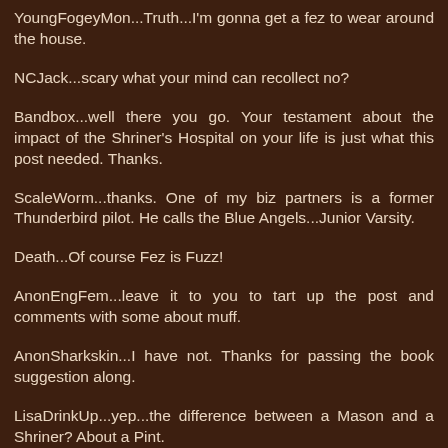YoungFogeyMon...Truth...I'm gonna get a fez to wear around the house.
NCJack...scary what your mind can recollect no?
Bandbox...well there you go. Your testament about the impact of the Shriner's Hospital on your life is just what this post needed. Thanks.
ScaleWorm...thanks. One of my biz partners is a former Thunderbird pilot. He calls the Blue Angels...Junior Varsity.
Death...Of course Fez is Fuzz!
AnonEngFem...leave it to you to tart up the post and comments with some about muff.
AnonSharkskin...I have not. Thanks for passing the book suggestion along.
LisaDrinkUp...yep...the difference between a Mason and a Shriner? About a Pint.